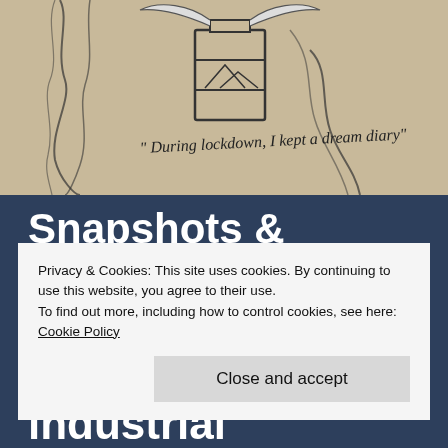[Figure (illustration): Pen and ink sketch of a surreal figure with text 'During lockdown, I kept a dream diary' written in handwritten style on a beige/cream background]
Snapshots & Sketches – dreams of an industrial
Privacy & Cookies: This site uses cookies. By continuing to use this website, you agree to their use.
To find out more, including how to control cookies, see here: Cookie Policy
Close and accept
lockdown: post industrial